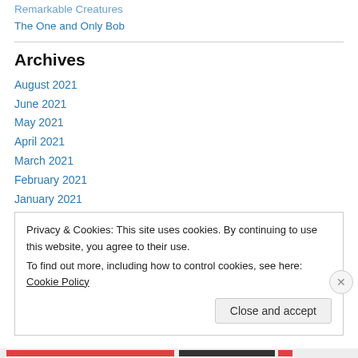Remarkable Creatures
The One and Only Bob
Archives
August 2021
June 2021
May 2021
April 2021
March 2021
February 2021
January 2021
December 2020
Privacy & Cookies: This site uses cookies. By continuing to use this website, you agree to their use.
To find out more, including how to control cookies, see here: Cookie Policy